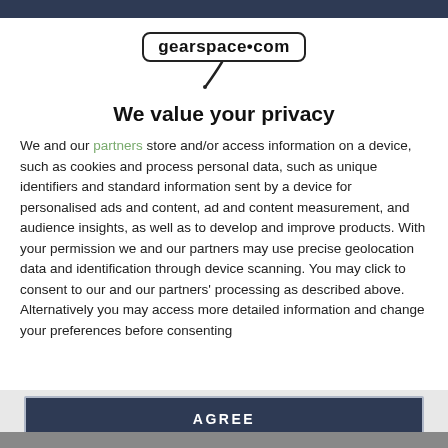[Figure (logo): gearspace.com logo in a rounded rectangle with a microphone cable swoosh below]
We value your privacy
We and our partners store and/or access information on a device, such as cookies and process personal data, such as unique identifiers and standard information sent by a device for personalised ads and content, ad and content measurement, and audience insights, as well as to develop and improve products. With your permission we and our partners may use precise geolocation data and identification through device scanning. You may click to consent to our and our partners' processing as described above. Alternatively you may access more detailed information and change your preferences before consenting
AGREE
MORE OPTIONS